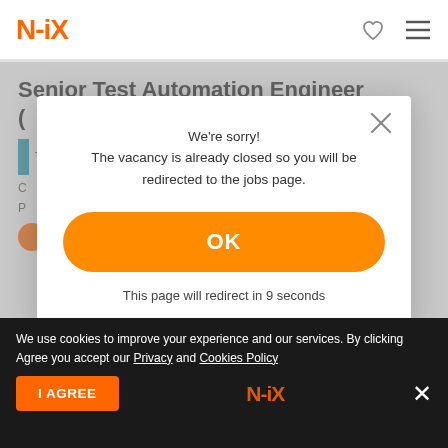N-iX
Senior Test Automation Engineer (
[Figure (screenshot): Modal dialog with close X button, message 'We're sorry! The vacancy is already closed so you will be redirected to the jobs page.', orange OK button, and redirect countdown text 'This page will redirect in 9 seconds']
We're sorry!
The vacancy is already closed so you will be redirected to the jobs page.
OK
This page will redirect in 9 seconds
We use cookies to improve your experience and our services. By clicking Agree you accept our Privacy and Cookies Policy
I AGREE